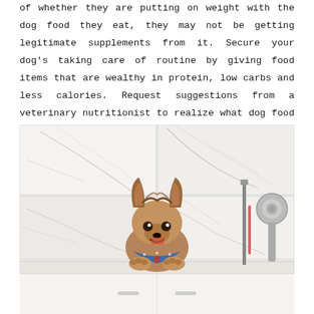of whether they are putting on weight with the dog food they eat, they may not be getting legitimate supplements from it. Secure your dog's taking care of routine by giving food items that are wealthy in protein, low carbs and less calories. Request suggestions from a veterinary nutritionist to realize what dog food varieties are smart for your pet.
[Figure (photo): A small Yorkshire Terrier dog with perky ears and a blue bandana collar, sitting in a white marble-tiled bathing station with grooming fixtures visible on the right side.]